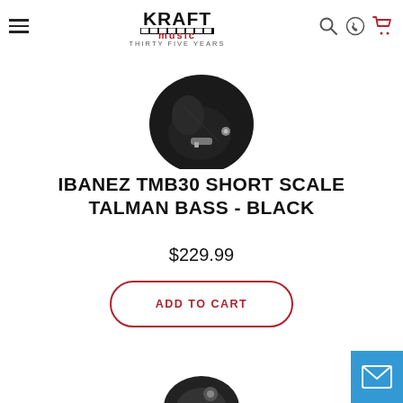Kraft Music - Thirty Five Years
[Figure (photo): Product photo of Ibanez TMB30 Short Scale Talman Bass in Black, showing the body of the guitar from behind, partially cropped at top]
IBANEZ TMB30 SHORT SCALE TALMAN BASS - BLACK
$229.99
ADD TO CART
[Figure (photo): Partial photo of another product visible at bottom of page]
[Figure (screenshot): Email contact button in blue at bottom right corner]